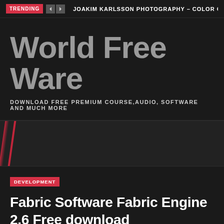TRENDING   JOAKIM KARLSSON PHOTOGRAPHY – COLOR GRA
World Free Ware
DOWNLOAD FREE PREMIUM COURSE,AUDIO, SOFTWARE AND MUCH MORE
DEVELOPMENT
Fabric Software Fabric Engine 2.6 Free download